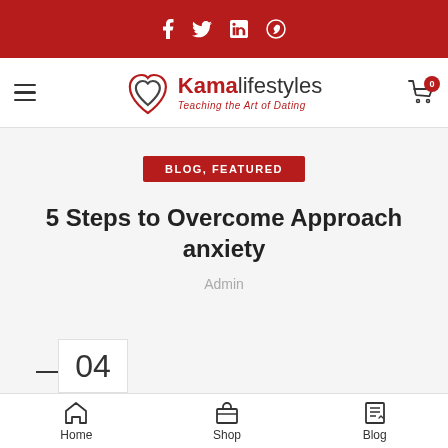f  tw  in  (whatsapp)
[Figure (logo): Kamalifestyles logo with two hearts icon and tagline 'Teaching the Art of Dating']
BLOG, FEATURED
5 Steps to Overcome Approach anxiety
Admin
04
Home  Shop  Blog